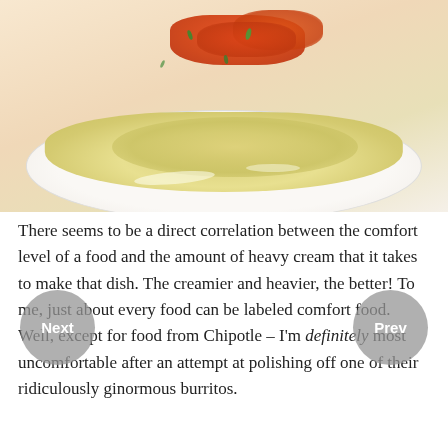[Figure (photo): A plate of creamy pasta or chicken dish with red bell peppers and green herbs on top, served in a white bowl on a pink/salmon background.]
There seems to be a direct correlation between the comfort level of a food and the amount of heavy cream that it takes to make that dish. The creamier and heavier, the better! To me, just about every food can be labeled comfort food. Well, except for food from Chipotle – I'm definitely most uncomfortable after an attempt at polishing off one of their ridiculously ginormous burritos.